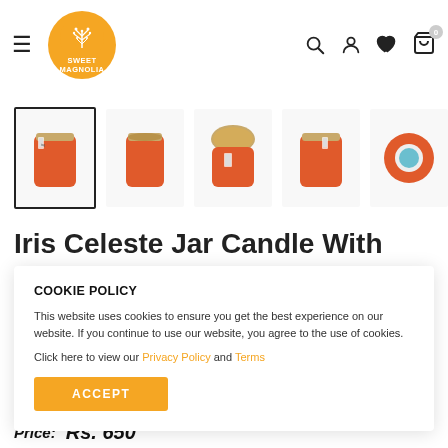[Figure (screenshot): Website header with hamburger menu, Sweet Magnolia logo (orange circular logo with tree design), and navigation icons (search, account, heart/wishlist, cart with 0 badge)]
[Figure (photo): Row of 5 product thumbnail images showing orange glass jar candles with wooden/bamboo lids from different angles. First thumbnail is selected with black border.]
Iris Celeste Jar Candle With
COOKIE POLICY

This website uses cookies to ensure you get the best experience on our website. If you continue to use our website, you agree to the use of cookies.

Click here to view our Privacy Policy and Terms

ACCEPT
Price: Rs. 650